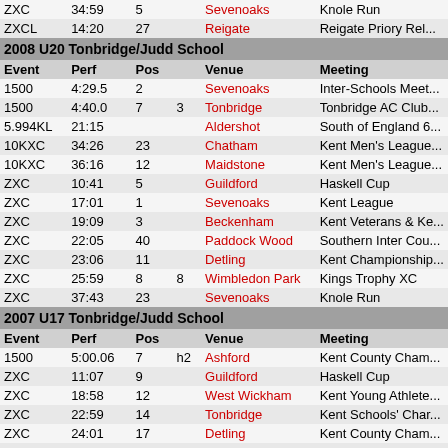| Event | Perf | Pos |  | Venue | Meeting |
| --- | --- | --- | --- | --- | --- |
| ZXC | 34:59 | 5 |  | Sevenoaks | Knole Run |
| ZXCL | 14:20 | 27 |  | Reigate | Reigate Priory Rel... |
| 2008 U20 Tonbridge/Judd School |  |  |  |  |  |
| Event | Perf | Pos |  | Venue | Meeting |
| 1500 | 4:29.5 | 2 |  | Sevenoaks | Inter-Schools Meet... |
| 1500 | 4:40.0 | 7 | 3 | Tonbridge | Tonbridge AC Club... |
| 5.994KL | 21:15 |  |  | Aldershot | South of England 6... |
| 10KXC | 34:26 | 23 |  | Chatham | Kent Men's League... |
| 10KXC | 36:16 | 12 |  | Maidstone | Kent Men's League... |
| ZXC | 10:41 | 5 |  | Guildford | Haskell Cup |
| ZXC | 17:01 | 1 |  | Sevenoaks | Kent League |
| ZXC | 19:09 | 3 |  | Beckenham | Kent Veterans & Ke... |
| ZXC | 22:05 | 40 |  | Paddock Wood | Southern Inter Cou... |
| ZXC | 23:06 | 11 |  | Detling | Kent Championship... |
| ZXC | 25:59 | 8 | 8 | Wimbledon Park | Kings Trophy XC |
| ZXC | 37:43 | 23 |  | Sevenoaks | Knole Run |
| 2007 U17 Tonbridge/Judd School |  |  |  |  |  |
| Event | Perf | Pos |  | Venue | Meeting |
| 1500 | 5:00.06 | 7 | h2 | Ashford | Kent County Cham... |
| ZXC | 11:07 | 9 |  | Guildford | Haskell Cup |
| ZXC | 18:58 | 12 |  | West Wickham | Kent Young Athlete... |
| ZXC | 22:59 | 14 |  | Tonbridge | Kent Schools' Char... |
| ZXC | 24:01 | 17 |  | Detling | Kent County Cham... |
| ZXC | 24:55 | 10 |  | Harrow | South East Schools... |
| ZXC | 38:54 | 36 |  | Sevenoaks | Knole Run |